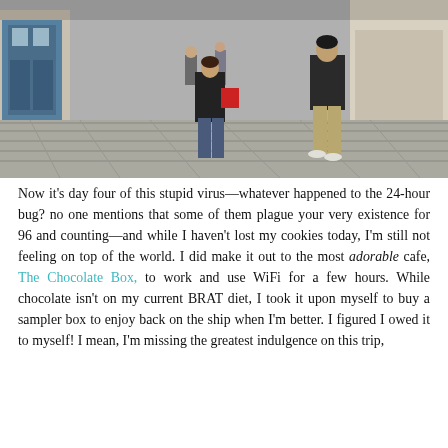[Figure (photo): Street scene in a European cobblestone pedestrian area. Two people are visible in the foreground — a woman in a black jacket with a red bag and jeans, and a man in khaki pants and dark jacket. Several other people are walking in the background. Buildings with blue doors and shop fronts line the street.]
Now it's day four of this stupid virus—whatever happened to the 24-hour bug? no one mentions that some of them plague your very existence for 96 and counting—and while I haven't lost my cookies today, I'm still not feeling on top of the world. I did make it out to the most adorable cafe, The Chocolate Box, to work and use WiFi for a few hours. While chocolate isn't on my current BRAT diet, I took it upon myself to buy a sampler box to enjoy back on the ship when I'm better. I figured I owed it to myself! I mean, I'm missing the greatest indulgence on this trip, and as you can see, even my darling